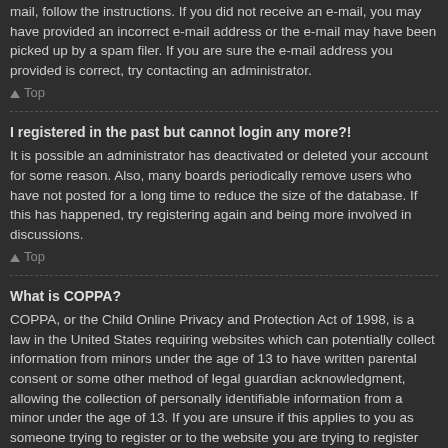mail, follow the instructions. If you did not receive an e-mail, you may have provided an incorrect e-mail address or the e-mail may have been picked up by a spam filer. If you are sure the e-mail address you provided is correct, try contacting an administrator.
↑ Top
I registered in the past but cannot login any more?!
It is possible an administrator has deactivated or deleted your account for some reason. Also, many boards periodically remove users who have not posted for a long time to reduce the size of the database. If this has happened, try registering again and being more involved in discussions.
↑ Top
What is COPPA?
COPPA, or the Child Online Privacy and Protection Act of 1998, is a law in the United States requiring websites which can potentially collect information from minors under the age of 13 to have written parental consent or some other method of legal guardian acknowledgment, allowing the collection of personally identifiable information from a minor under the age of 13. If you are unsure if this applies to you as someone trying to register or to the website you are trying to register on, contact legal counsel for assistance. Please note that the phpBB Group cannot provide legal advice and is not a point of contact for legal concerns of any kind, except as outlined below.
↑ Top